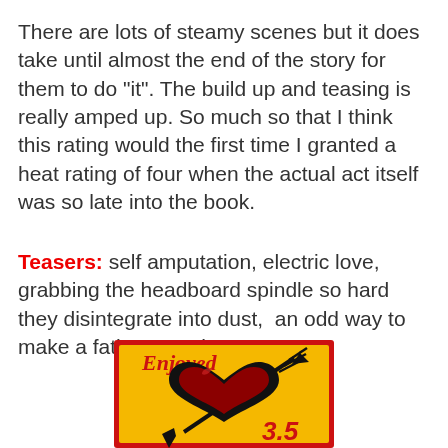There are lots of steamy scenes but it does take until almost the end of the story for them to do "it". The build up and teasing is really amped up. So much so that I think this rating would the first time I granted a heat rating of four when the actual act itself was so late into the book.
Teasers: self amputation, electric love, grabbing the headboard spindle so hard they disintegrate into dust,  an odd way to make a father proud
[Figure (illustration): A yellow square badge with a red border containing a stylized black and red heart pierced by an arrow, with 'Enjoyed' in red italic script at the top and '3.5' in red bold text at the bottom right.]